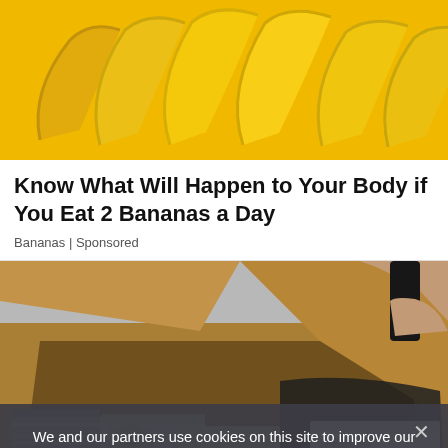[Figure (photo): Row of yellow bananas on a yellow background, photographed from the front, filling the frame.]
Know What Will Happen to Your Body if You Eat 2 Bananas a Day
Bananas | Sponsored
[Figure (photo): Open cardboard box containing stacks of US $100 bills bundled with yellow straps, with a hand reaching in from the right, and a white banker's box visible on the right side.]
We and our partners use cookies on this site to improve our service, perform analytics, personalize advertising, measure advertising performance, and remember website preferences.
Ok